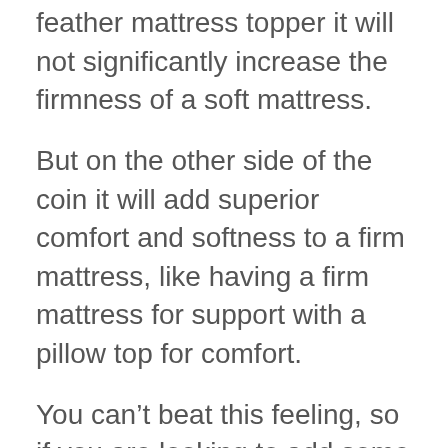feather mattress topper it will not significantly increase the firmness of a soft mattress.
But on the other side of the coin it will add superior comfort and softness to a firm mattress, like having a firm mattress for support with a pillow top for comfort.
You can't beat this feeling, so if you are looking to add some comfort to a firm mattress then this is the best down mattress topper for you.
If you just want to add some extra